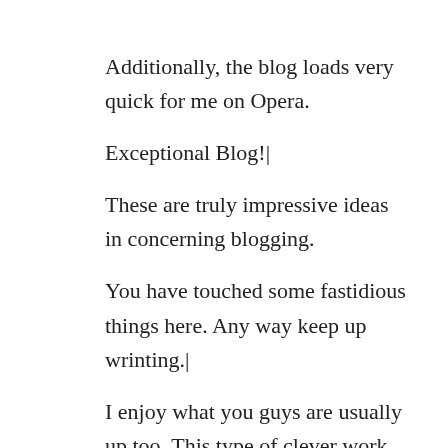Additionally, the blog loads very quick for me on Opera.
Exceptional Blog!|
These are truly impressive ideas in concerning blogging.
You have touched some fastidious things here. Any way keep up wrinting.|
I enjoy what you guys are usually up too. This type of clever work and coverage! Keep up the awesome works guys I’ve included you guys to my personal blogroll.|
Hey! Someone in my Facebook group shared